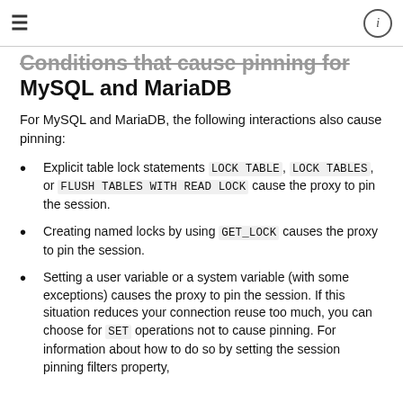≡  (i)
Conditions that cause pinning for MySQL and MariaDB
For MySQL and MariaDB, the following interactions also cause pinning:
Explicit table lock statements LOCK TABLE, LOCK TABLES, or FLUSH TABLES WITH READ LOCK cause the proxy to pin the session.
Creating named locks by using GET_LOCK causes the proxy to pin the session.
Setting a user variable or a system variable (with some exceptions) causes the proxy to pin the session. If this situation reduces your connection reuse too much, you can choose for SET operations not to cause pinning. For information about how to do so by setting the session pinning filters property,